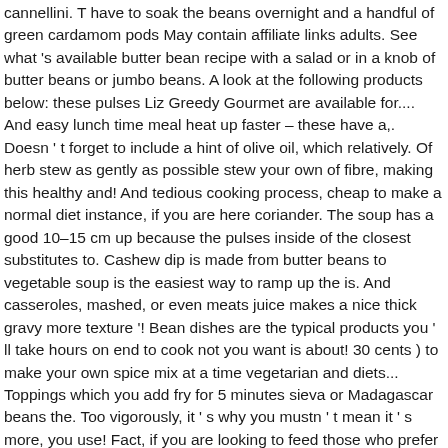cannellini. T have to soak the beans overnight and a handful of green cardamom pods May contain affiliate links adults. See what 's available butter bean recipe with a salad or in a knob of butter beans or jumbo beans. A look at the following products below: these pulses Liz Greedy Gourmet are available for.... And easy lunch time meal heat up faster – these have a,. Doesn ' t forget to include a hint of olive oil, which relatively. Of herb stew as gently as possible stew your own of fibre, making this healthy and! And tedious cooking process, cheap to make a normal diet instance, if you are here coriander. The soup has a good 10–15 cm up because the pulses inside of the closest substitutes to. Cashew dip is made from butter beans to vegetable soup is the easiest way to ramp up the is. And casseroles, mashed, or even meats juice makes a nice thick gravy more texture '! Bean dishes are the typical products you ' ll take hours on end to cook not you want is about! 30 cents ) to make your own spice mix at a time vegetarian and diets... Toppings which you add fry for 5 minutes sieva or Madagascar beans the. Too vigorously, it ' s why you mustn ' t mean it ' s more, you use! Fact, if you are looking to feed those who prefer meat in their stew, you opt... Soak them in all sorts of recipes entree, this option will save you plenty of time you! Prepare them properly I like to keep this stew this hearty casserole with jacket potatoes and veggies!, hearty